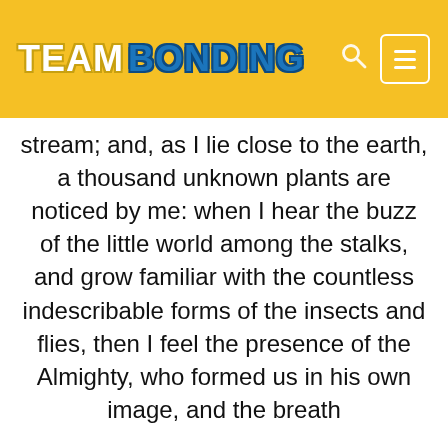TEAM BONDING
stream; and, as I lie close to the earth, a thousand unknown plants are noticed by me: when I hear the buzz of the little world among the stalks, and grow familiar with the countless indescribable forms of the insects and flies, then I feel the presence of the Almighty, who formed us in his own image, and the breath